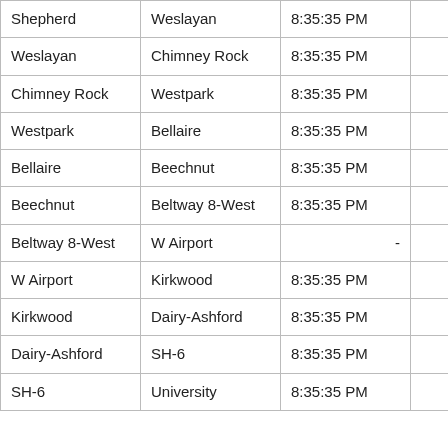| Shepherd | Weslayan | 8:35:35 PM | 1.80 | 1:5 |
| Weslayan | Chimney Rock | 8:35:35 PM | 2.10 | 2:0 |
| Chimney Rock | Westpark | 8:35:35 PM | 0.90 | 00:4 |
| Westpark | Bellaire | 8:35:35 PM | 1.80 | 1:5 |
| Bellaire | Beechnut | 8:35:35 PM | 1.10 | 1:04 |
| Beechnut | Beltway 8-West | 8:35:35 PM | 2.20 | 2:1 |
| Beltway 8-West | W Airport | - | 1.80 |  |
| W Airport | Kirkwood | 8:35:35 PM | 1.20 | 00:5 |
| Kirkwood | Dairy-Ashford | 8:35:35 PM | 1.70 | 1:3 |
| Dairy-Ashford | SH-6 | 8:35:35 PM | 1.60 | 1:3 |
| SH-6 | University | 8:35:35 PM | 2.10 | 1:4 |